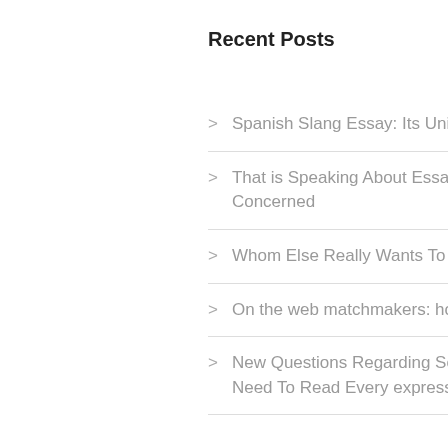Recent Posts
Spanish Slang Essay: Its Uniqueness For those
That is Speaking About Essay Writing Provider Best and just why You Need To Be Concerned
Whom Else Really Wants To Find Out About Web Site to create My Essay?
On the web matchmakers: how to begin
New Questions Regarding Scaffold Education Answered and exactly why You Need To Read Every expressed word with this Report